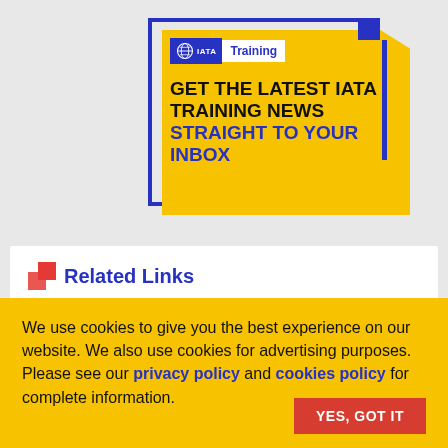[Figure (infographic): IATA Training promotional card on gray background. Yellow card with clipped top-right corner, blue border rectangle behind it, blue accent bar on right. Card contains IATA Training logo badge and headline text 'GET THE LATEST IATA TRAINING NEWS STRAIGHT TO YOUR INBOX' in black and blue.]
Related Links
[Figure (logo): Partial blue circle/donut shape visible at bottom of white Related Links section]
We use cookies to give you the best experience on our website. We also use cookies for advertising purposes. Please see our privacy policy and cookies policy for complete information.